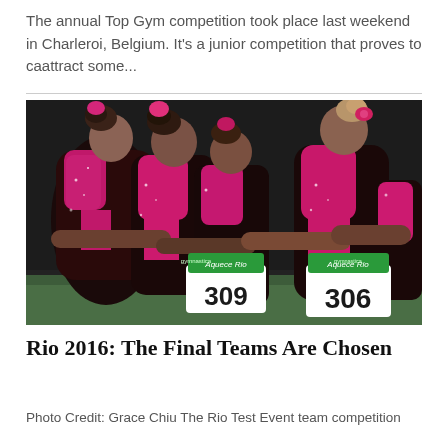The annual Top Gym competition took place last weekend in Charleroi, Belgium. It's a junior competition that proves to caattract some...
[Figure (photo): Group of female gymnasts in pink and black sparkly leotards hugging from behind, wearing competition bibs numbered 309 and 306 with 'Aquece Rio' branding, photographed from behind in an indoor arena]
Rio 2016: The Final Teams Are Chosen
Photo Credit: Grace Chiu The Rio Test Event team competition